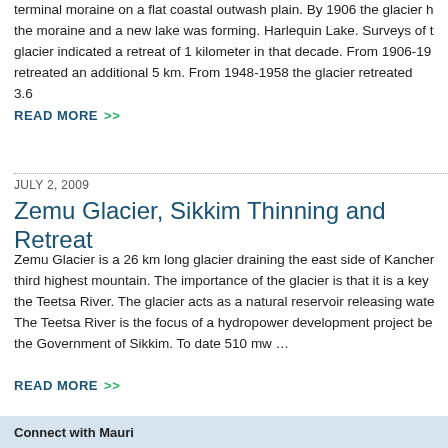terminal moraine on a flat coastal outwash plain. By 1906 the glacier had retreated behind the moraine and a new lake was forming. Harlequin Lake. Surveys of the glacier indicated a retreat of 1 kilometer in that decade. From 1906-19 the glacier retreated an additional 5 km. From 1948-1958 the glacier retreated 3.6...
READ MORE >>
JULY 2, 2009
Zemu Glacier, Sikkim Thinning and Retreat
Zemu Glacier is a 26 km long glacier draining the east side of Kanchenjunga, the world's third highest mountain. The importance of the glacier is that it is a key source of water for the Teetsa River. The glacier acts as a natural reservoir releasing water during the dry season. The Teetsa River is the focus of a hydropower development project being developed by the Government of Sikkim. To date 510 mw …
READ MORE >>
Connect with Mauri